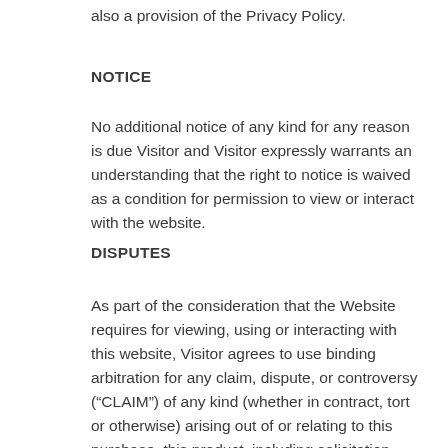also a provision of the Privacy Policy.
NOTICE
No additional notice of any kind for any reason is due Visitor and Visitor expressly warrants an understanding that the right to notice is waived as a condition for permission to view or interact with the website.
DISPUTES
As part of the consideration that the Website requires for viewing, using or interacting with this website, Visitor agrees to use binding arbitration for any claim, dispute, or controversy (“CLAIM”) of any kind (whether in contract, tort or otherwise) arising out of or relating to this purchase, this product, including solicitation issues, privacy issues, and terms of use issues. In the event the Visitor is the prevailing party, the Visitor shall bare the cost of its